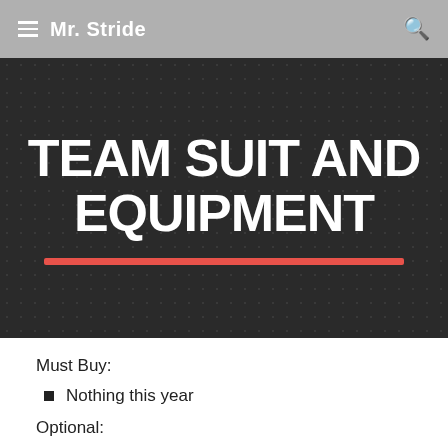Mr. Stride
TEAM SUIT AND EQUIPMENT
Must Buy:
Nothing this year
Optional: